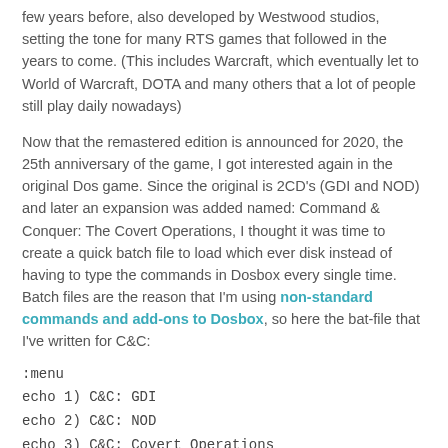few years before, also developed by Westwood studios, setting the tone for many RTS games that followed in the years to come. (This includes Warcraft, which eventually let to World of Warcraft, DOTA and many others that a lot of people still play daily nowadays)
Now that the remastered edition is announced for 2020, the 25th anniversary of the game, I got interested again in the original Dos game. Since the original is 2CD's (GDI and NOD) and later an expansion was added named: Command & Conquer: The Covert Operations, I thought it was time to create a quick batch file to load which ever disk instead of having to type the commands in Dosbox every single time. Batch files are the reason that I'm using non-standard commands and add-ons to Dosbox, so here the bat-file that I've written for C&C:
:menu
echo 1) C&C: GDI
echo 2) C&C: NOD
echo 3) C&C: Covert Operations
echo 4) Exit to Dos
choice /C:1234 /N Option:
if errorlevel = 1 goto GDI